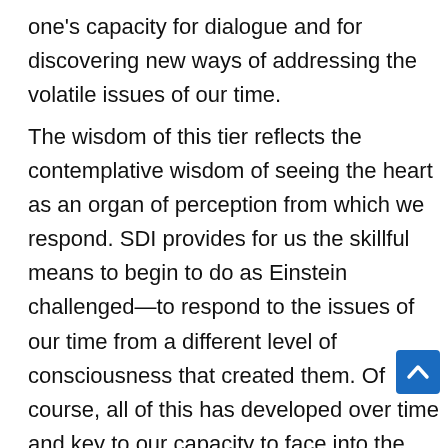one's capacity for dialogue and for discovering new ways of addressing the volatile issues of our time.
The wisdom of this tier reflects the contemplative wisdom of seeing the heart as an organ of perception from which we respond. SDI provides for us the skillful means to begin to do as Einstein challenged—to respond to the issues of our time from a different level of consciousness that created them. Of course, all of this has developed over time and key to our capacity to face into the complexity of this moment embracing the differences and seeking new approaches must be understood within evolutionary time. It has taken us millions of year to be at this point